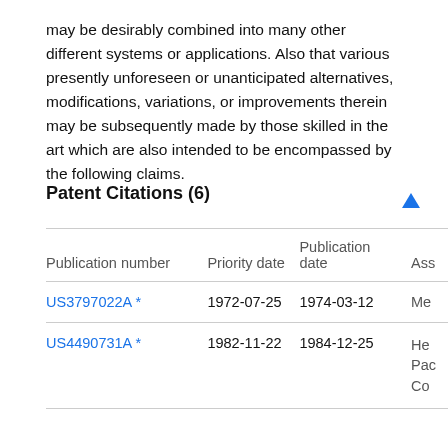may be desirably combined into many other different systems or applications. Also that various presently unforeseen or unanticipated alternatives, modifications, variations, or improvements therein may be subsequently made by those skilled in the art which are also intended to be encompassed by the following claims.
Patent Citations (6)
| Publication number | Priority date | Publication date | Ass |
| --- | --- | --- | --- |
| US3797022A * | 1972-07-25 | 1974-03-12 | Me |
| US4490731A * | 1982-11-22 | 1984-12-25 | He
Pac
Co |